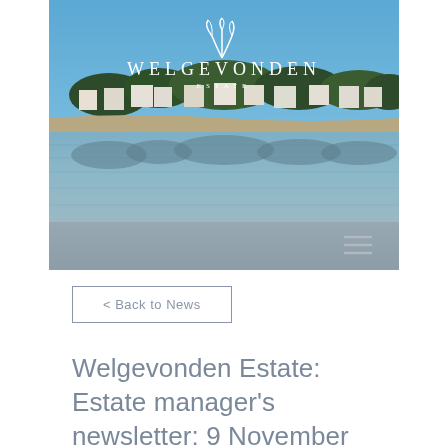[Figure (photo): Welgevonden Estate header photo showing a lake reflecting houses and trees, with the Welgevonden Estate logo (white text and stylized wheat/plant icon) overlaid at the top center. A hamburger menu icon is visible at the bottom right of the image.]
< Back to News
Welgevonden Estate: Estate manager's newsletter: 9 November